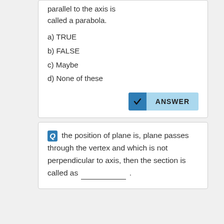parallel to the axis is called a parabola.
a) TRUE
b) FALSE
c) Maybe
d) None of these
ANSWER
Q the position of plane is, plane passes through the vertex and which is not perpendicular to axis, then the section is called as ___________ .